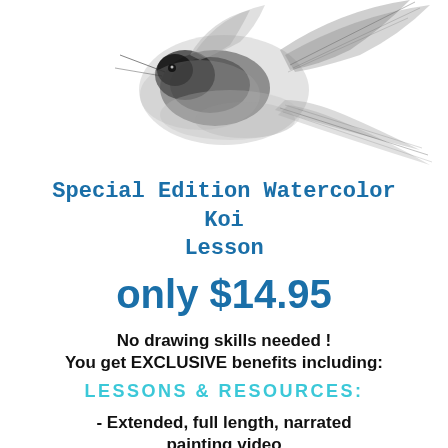[Figure (illustration): Watercolor painting of a koi fish in grayscale/black and white, showing flowing fins and tail at the top of the page]
Special Edition Watercolor Koi Lesson
only $14.95
No drawing skills needed !
You get EXCLUSIVE benefits including:
LESSONS & RESOURCES:
- Extended, full length, narrated painting video